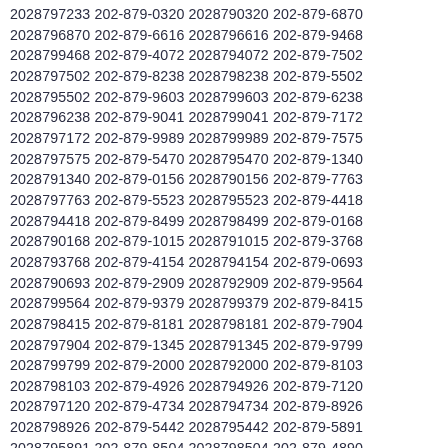2028797233 202-879-0320 2028790320 202-879-6870
2028796870 202-879-6616 2028796616 202-879-9468
2028799468 202-879-4072 2028794072 202-879-7502
2028797502 202-879-8238 2028798238 202-879-5502
2028795502 202-879-9603 2028799603 202-879-6238
2028796238 202-879-9041 2028799041 202-879-7172
2028797172 202-879-9989 2028799989 202-879-7575
2028797575 202-879-5470 2028795470 202-879-1340
2028791340 202-879-0156 2028790156 202-879-7763
2028797763 202-879-5523 2028795523 202-879-4418
2028794418 202-879-8499 2028798499 202-879-0168
2028790168 202-879-1015 2028791015 202-879-3768
2028793768 202-879-4154 2028794154 202-879-0693
2028790693 202-879-2909 2028792909 202-879-9564
2028799564 202-879-9379 2028799379 202-879-8415
2028798415 202-879-8181 2028798181 202-879-7904
2028797904 202-879-1345 2028791345 202-879-9799
2028799799 202-879-2000 2028792000 202-879-8103
2028798103 202-879-4926 2028794926 202-879-7120
2028797120 202-879-4734 2028794734 202-879-8926
2028798926 202-879-5442 2028795442 202-879-5891
2028795891 202-879-8504 2028798504 202-879-4890
2028794890 202-879-5371 2028795371 202-879-4105
2028794105 202-879-8239 2028798239 202-879-9276
2028799276 202-879-2710 2028792710 202-879-8243